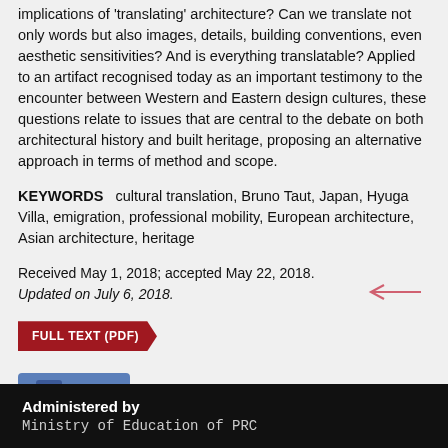implications of 'translating' architecture? Can we translate not only words but also images, details, building conventions, even aesthetic sensitivities? And is everything translatable? Applied to an artifact recognised today as an important testimony to the encounter between Western and Eastern design cultures, these questions relate to issues that are central to the debate on both architectural history and built heritage, proposing an alternative approach in terms of method and scope.
KEYWORDS  cultural translation, Bruno Taut, Japan, Hyuga Villa, emigration, professional mobility, European architecture, Asian architecture, heritage
Received May 1, 2018; accepted May 22, 2018.
Updated on July 6, 2018.
[Figure (other): Red arrow-shaped button labeled FULL TEXT (PDF)]
[Figure (other): Blue Facebook Share button with 'f' icon and 'Share' text]
[Figure (other): Pink/red left-arrow navigation icon]
Administered by
Ministry of Education of PRC